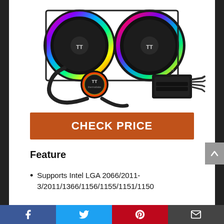[Figure (photo): Thermaltake liquid CPU cooler with two RGB fans and pump head showing rainbow/multicolor LED lighting, with controller box, on white background.]
CHECK PRICE
Feature
Supports Intel LGA 2066/2011-3/2011/1366/1156/1155/1151/1150
Supports AMD...